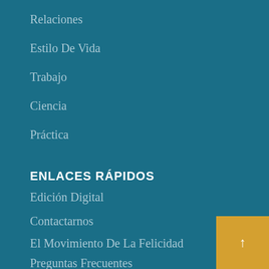Relaciones
Estilo De Vida
Trabajo
Ciencia
Práctica
ENLACES RÁPIDOS
Edición Digital
Contactarnos
El Movimiento De La Felicidad
Preguntas Frecuentes
Términos y Condiciones